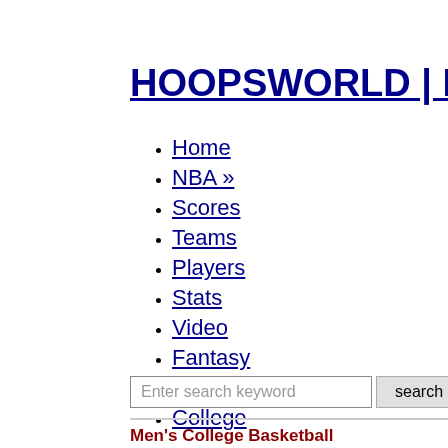HOOPSWORLD | Bas
Home
NBA »
Scores
Teams
Players
Stats
Video
Fantasy
NBA Draft
College
Men's College Basketball
Scores & Matchups   Teams   Players   Statistics   Sta
PLAYERS | INJURIES